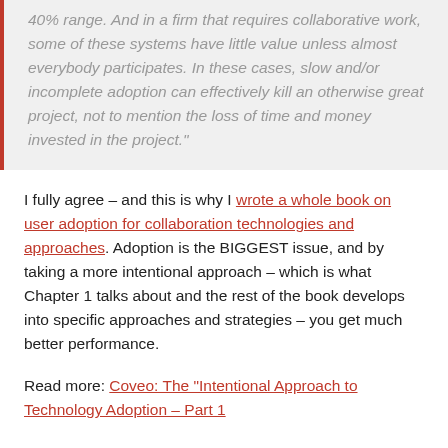40% range. And in a firm that requires collaborative work, some of these systems have little value unless almost everybody participates. In these cases, slow and/or incomplete adoption can effectively kill an otherwise great project, not to mention the loss of time and money invested in the project."
I fully agree – and this is why I wrote a whole book on user adoption for collaboration technologies and approaches. Adoption is the BIGGEST issue, and by taking a more intentional approach – which is what Chapter 1 talks about and the rest of the book develops into specific approaches and strategies – you get much better performance.
Read more: Coveo: The "Intentional Approach to Technology Adoption – Part 1